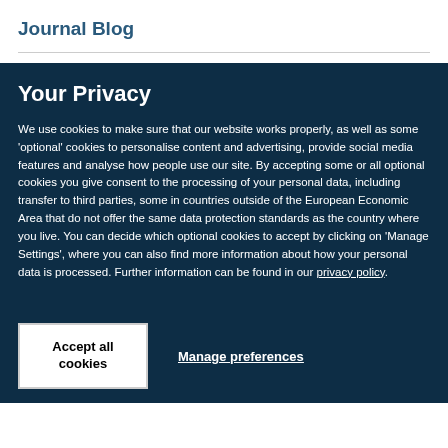Journal Blog
Your Privacy
We use cookies to make sure that our website works properly, as well as some ‘optional’ cookies to personalise content and advertising, provide social media features and analyse how people use our site. By accepting some or all optional cookies you give consent to the processing of your personal data, including transfer to third parties, some in countries outside of the European Economic Area that do not offer the same data protection standards as the country where you live. You can decide which optional cookies to accept by clicking on ‘Manage Settings’, where you can also find more information about how your personal data is processed. Further information can be found in our privacy policy.